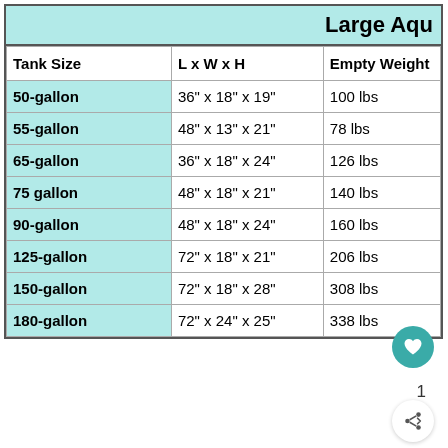Large Aqu
| Tank Size | L x W x H | Empty Weight |
| --- | --- | --- |
| 50-gallon | 36" x 18" x 19" | 100 lbs |
| 55-gallon | 48" x 13" x 21" | 78 lbs |
| 65-gallon | 36" x 18" x 24" | 126 lbs |
| 75 gallon | 48" x 18" x 21" | 140 lbs |
| 90-gallon | 48" x 18" x 24" | 160 lbs |
| 125-gallon | 72" x 18" x 21" | 206 lbs |
| 150-gallon | 72" x 18" x 28" | 308 lbs |
| 180-gallon | 72" x 24" x 25" | 338 lbs |